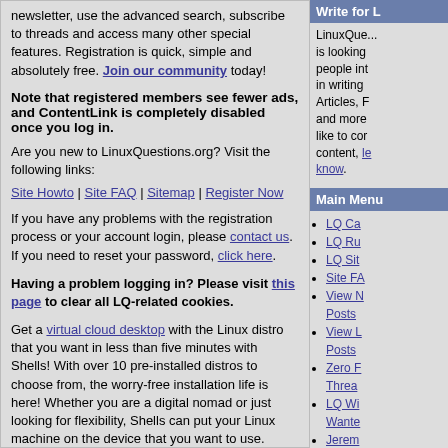newsletter, use the advanced search, subscribe to threads and access many other special features. Registration is quick, simple and absolutely free. Join our community today!
Note that registered members see fewer ads, and ContentLink is completely disabled once you log in.
Are you new to LinuxQuestions.org? Visit the following links: Site Howto | Site FAQ | Sitemap | Register Now
If you have any problems with the registration process or your account login, please contact us. If you need to reset your password, click here.
Having a problem logging in? Please visit this page to clear all LQ-related cookies.
Get a virtual cloud desktop with the Linux distro that you want in less than five minutes with Shells! With over 10 pre-installed distros to choose from, the worry-free installation life is here! Whether you are a digital nomad or just looking for flexibility, Shells can put your Linux machine on the device that you want to use.
Exclusive for LQ members, get up to 45% off per month. Click here for more info.
Write for L
LinuxQue... is looking people int in writing Articles, F and more like to cor content, le know.
Main Menu
LQ Ca
LQ Ru
LQ Sit
Site FA
View N Posts
View L Posts
Zero F Threa
LQ Wi Wante
Jerem
Repor